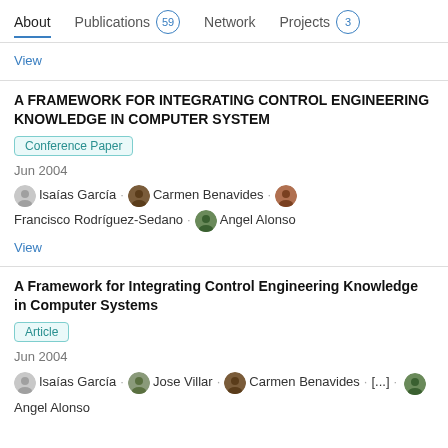About  Publications 59  Network  Projects 3
View
A FRAMEWORK FOR INTEGRATING CONTROL ENGINEERING KNOWLEDGE IN COMPUTER SYSTEM
Conference Paper
Jun 2004
Isaías García · Carmen Benavides · Francisco Rodríguez-Sedano · Angel Alonso
View
A Framework for Integrating Control Engineering Knowledge in Computer Systems
Article
Jun 2004
Isaías García · Jose Villar · Carmen Benavides · [...] · Angel Alonso